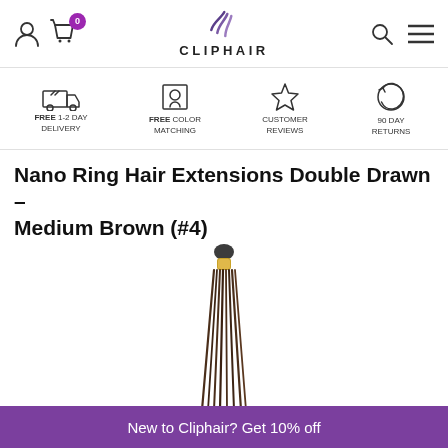CLIPHAIR
Nano Ring Hair Extensions Double Drawn – Medium Brown (#4)
[Figure (photo): A bundle of medium brown (#4) nano ring hair extensions with a yellow/gold nano ring at the top, shown against a white background.]
New to Cliphair? Get 10% off